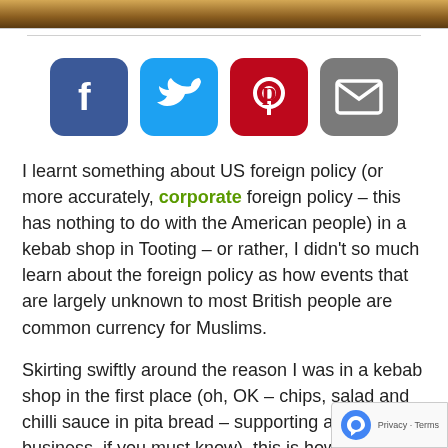[Figure (photo): Top strip showing a partial photo (warm brown/golden tones), cropped at top of page]
[Figure (infographic): Row of four social media share icons: Facebook (blue), Twitter (light blue), Pinterest (red), Email/Mail (grey), each as rounded-square icons]
I learnt something about US foreign policy (or more accurately, corporate foreign policy – this has nothing to do with the American people) in a kebab shop in Tooting – or rather, I didn't so much learn about the foreign policy as how events that are largely unknown to most British people are common currency for Muslims.
Skirting swiftly around the reason I was in a kebab shop in the first place (oh, OK – chips, salad and chilli sauce in pita bread – supporting a local small business, if you must know), this is how it panned out. I was standing at the counter – there were two Pakistani men behind the counter, and three Pakistani men on my